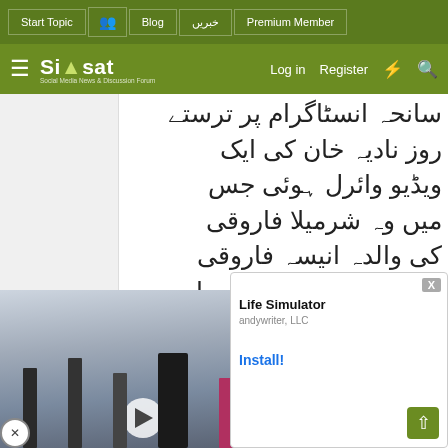Start Topic | Blog | خبریں | Premium Member
Siasat — Log in | Register
سانحہ انسٹاگرام پر ترستے روز نادیہ خان کی ایک ویڈیو وائرل ہوئی جس میں وہ شرمیلا فاروقی کی والدہ انیسہ فاروقی سے ان کے میک اپ کے بارے میں پوچھتی ہوئی نظر آرہی
[Figure (screenshot): Embedded video player showing people standing near a car at what appears to be an official European event, with EU flag visible]
[Figure (screenshot): Advertisement overlay: Life Simulator app by Candywriter LLC with Install button]